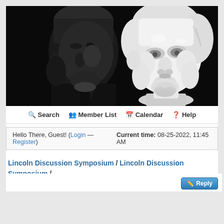[Figure (photo): Black and white photo showing Abraham Lincoln's face in profile on the left, and a white sculpted bust/statue of Abraham Lincoln on the right, against a dark background.]
Search  Member List  Calendar  Help
Hello There, Guest! (Login — Register)  Current time: 08-25-2022, 11:45 AM
Lincoln Discussion Symposium / Lincoln Discussion Symposium / Assassination / Junius Booth's child William